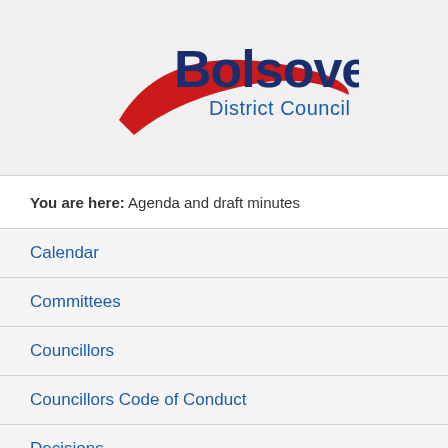[Figure (logo): Bolsover District Council logo with red swoosh arc and dark blue bold text 'Bolsover' above 'District Council' in smaller blue text]
You are here: Agenda and draft minutes
Calendar
Committees
Councillors
Councillors Code of Conduct
Decisions
Forthcoming Decisions